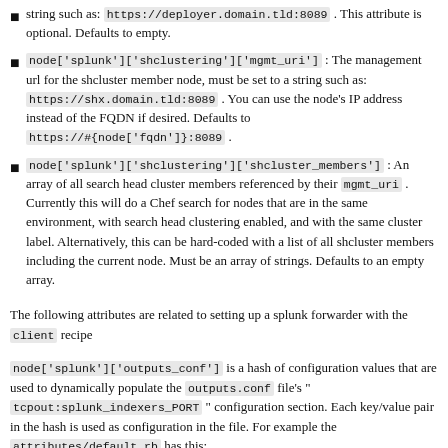string such as: https://deployer.domain.tld:8089 . This attribute is optional. Defaults to empty.
node['splunk']['shclustering']['mgmt_uri'] : The management url for the shcluster member node, must be set to a string such as: https://shx.domain.tld:8089 . You can use the node's IP address instead of the FQDN if desired. Defaults to https://#{node['fqdn']}:8089 .
node['splunk']['shclustering']['shcluster_members'] : An array of all search head cluster members referenced by their mgmt_uri . Currently this will do a Chef search for nodes that are in the same environment, with search head clustering enabled, and with the same cluster label. Alternatively, this can be hard-coded with a list of all shcluster members including the current node. Must be an array of strings. Defaults to an empty array.
The following attributes are related to setting up a splunk forwarder with the client recipe
node['splunk']['outputs_conf'] is a hash of configuration values that are used to dynamically populate the outputs.conf file's " tcpout:splunk_indexers_PORT " configuration section. Each key/value pair in the hash is used as configuration in the file. For example the attributes/default.rb has this: